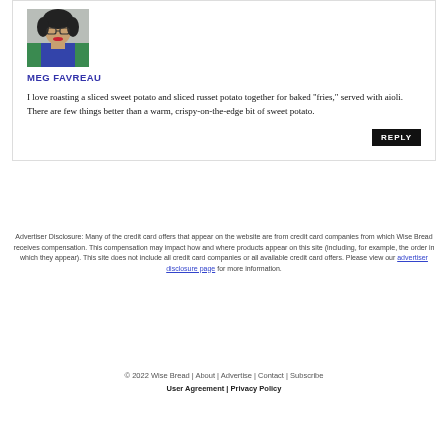[Figure (photo): Profile photo of Meg Favreau, a woman with dark curly hair, glasses, red lipstick, wearing a green cardigan]
MEG FAVREAU
I love roasting a sliced sweet potato and sliced russet potato together for baked "fries," served with aioli. There are few things better than a warm, crispy-on-the-edge bit of sweet potato.
REPLY
Advertiser Disclosure: Many of the credit card offers that appear on the website are from credit card companies from which Wise Bread receives compensation. This compensation may impact how and where products appear on this site (including, for example, the order in which they appear). This site does not include all credit card companies or all available credit card offers. Please view our advertiser disclosure page for more information.
© 2022 Wise Bread | About | Advertise | Contact | Subscribe
User Agreement | Privacy Policy